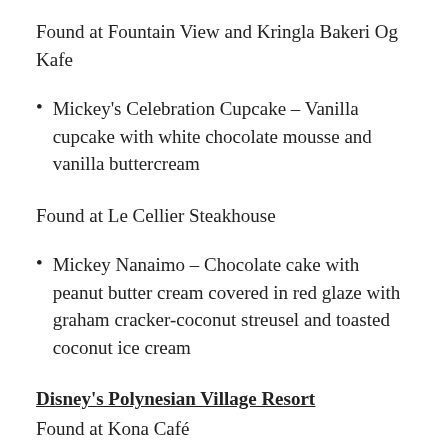Found at Fountain View and Kringla Bakeri Og Kafe
Mickey's Celebration Cupcake – Vanilla cupcake with white chocolate mousse and vanilla buttercream
Found at Le Cellier Steakhouse
Mickey Nanaimo – Chocolate cake with peanut butter cream covered in red glaze with graham cracker-coconut streusel and toasted coconut ice cream
Disney's Polynesian Village Resort
Found at Kona Café